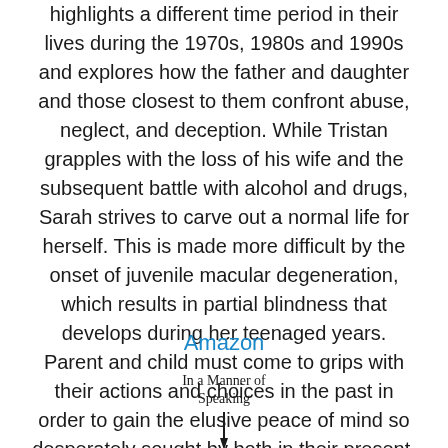highlights a different time period in their lives during the 1970s, 1980s and 1990s and explores how the father and daughter and those closest to them confront abuse, neglect, and deception. While Tristan grapples with the loss of his wife and the subsequent battle with alcohol and drugs, Sarah strives to carve out a normal life for herself. This is made more difficult by the onset of juvenile macular degeneration, which results in partial blindness that develops during her teenaged years. Parent and child must come to grips with their actions and choices in the past in order to gain the elusive peace of mind so desperately sought by both in their present.
Amazon
In a Manner of Speaking